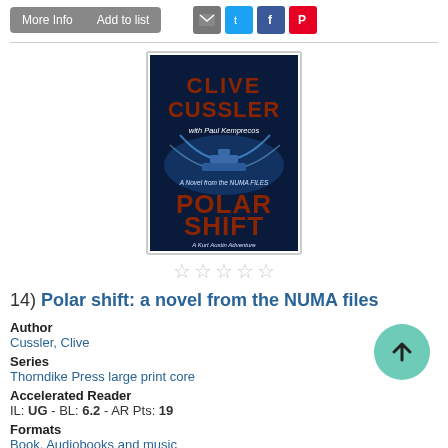More Info | Add to list | [email] [twitter] [facebook] [pinterest]
[Figure (photo): Book cover of 'Polar Shift' by Clive Cussler with Paul Kemprecos. Dark blue background with ship imagery. Subtitle: A Novel from the NUMA Files, A Kurt Austin Adventure.]
☆☆☆☆☆ (5 empty stars rating)
14)  Polar shift: a novel from the NUMA files
Author
Cussler, Clive
Series
Thorndike Press large print core
Accelerated Reader
IL: UG - BL: 6.2 - AR Pts: 19
Formats
Book, Audiobooks and music